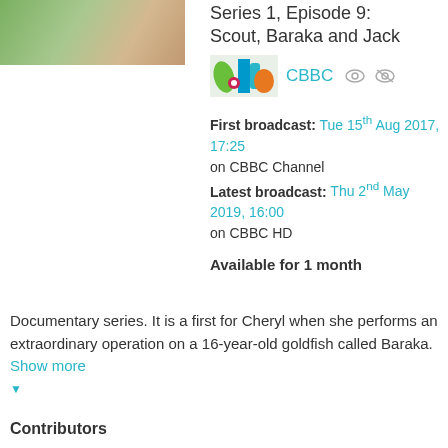[Figure (photo): Thumbnail image of people at a table with drinks]
Series 1, Episode 9: Scout, Baraka and Jack
[Figure (logo): CBBC channel logo with colorful shapes]
CBBC
First broadcast: Tue 15th Aug 2017, 17:25 on CBBC Channel
Latest broadcast: Thu 2nd May 2019, 16:00 on CBBC HD
Available for 1 month
Documentary series. It is a first for Cheryl when she performs an extraordinary operation on a 16-year-old goldfish called Baraka. Show more
Contributors